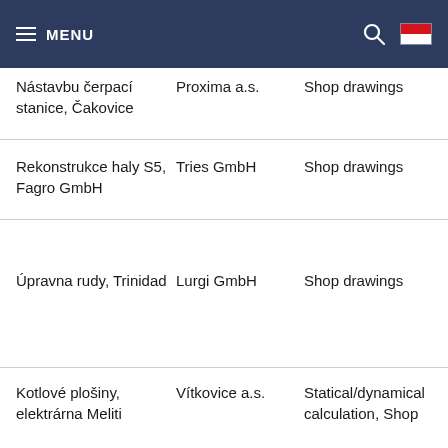MENU
| Nástavbu čerpací stanice, Čakovice | Proxima a.s. | Shop drawings |
| Rekonstrukce haly S5, Fagro GmbH | Tries GmbH | Shop drawings |
| Úpravna rudy, Trinidad | Lurgi GmbH | Shop drawings |
| Kotlové plošiny, elektrárna Meliti | Vítkovice a.s. | Statical/dynamical calculation, Shop |